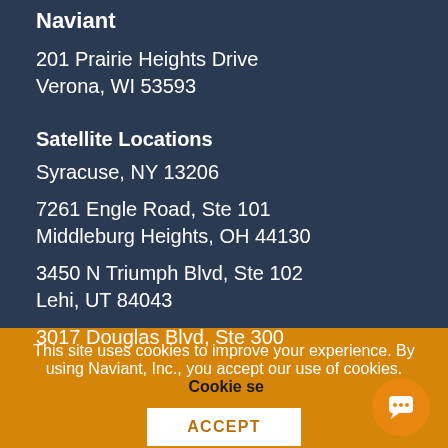Naviant
201 Prairie Heights Drive
Verona, WI 53593
Satellite Locations
Syracuse, NY 13206
7261 Engle Road, Ste 101
Middleburg Heights, OH 44130
3450 N Triumph Blvd, Ste 102
Lehi, UT 84043
3017 Douglas Blvd, Ste 300
This site uses cookies to improve your experience. By using Naviant, Inc., you accept our use of cookies. Cookie se
ACCEPT